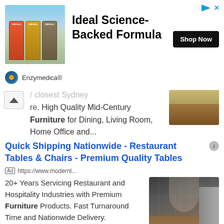[Figure (screenshot): Advertisement banner for Enzymedica showing supplement bottles on beach background with headline 'Ideal Science-Backed Formula' and 'Shop Now' button]
closest Sydney re. High Quality Mid-Century Furniture for Dining, Living Room, Home Office and...
Quick Shipping Nationwide - Restaurant Tables & Chairs - Premium Quality Tables
Ad https://www.modernl... 20+ Years Servicing Restaurant and Hospitality Industries with Premium Furniture Products. Fast Turnaround Time and Nationwide Delivery.